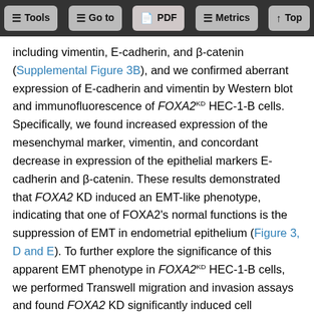Tools  Go to  PDF  Metrics  Top
including vimentin, E-cadherin, and β-catenin (Supplemental Figure 3B), and we confirmed aberrant expression of E-cadherin and vimentin by Western blot and immunofluorescence of FOXA2KD HEC-1-B cells. Specifically, we found increased expression of the mesenchymal marker, vimentin, and concordant decrease in expression of the epithelial markers E-cadherin and β-catenin. These results demonstrated that FOXA2 KD induced an EMT-like phenotype, indicating that one of FOXA2's normal functions is the suppression of EMT in endometrial epithelium (Figure 3, D and E). To further explore the significance of this apparent EMT phenotype in FOXA2KD HEC-1-B cells, we performed Transwell migration and invasion assays and found FOXA2 KD significantly induced cell migration